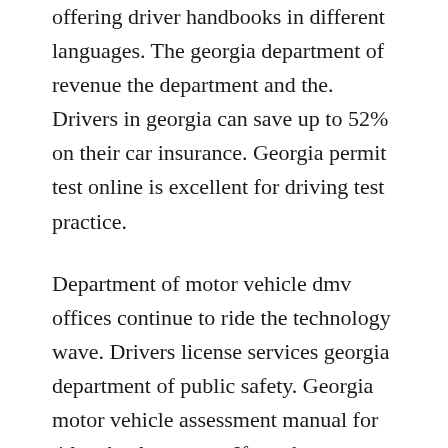offering driver handbooks in different languages. The georgia department of revenue the department and the. Drivers in georgia can save up to 52% on their car insurance. Georgia permit test online is excellent for driving test practice.
Department of motor vehicle dmv offices continue to ride the technology wave. Drivers license services georgia department of public safety. Georgia motor vehicle assessment manual for title ad valorem tax. If you have secure on your drivers license or id, you will not need to bring back in these documents and